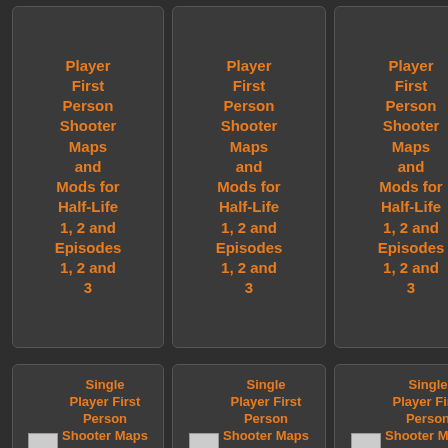[Figure (screenshot): Grid of book/product cards showing 'Single Player First Person Shooter Maps and Mods for Half-Life 1, 2 and Episodes 1, 2 and 3' repeated across two rows. Top row shows text-only cards in orange on dark background. Bottom row shows cards with a small image placeholder followed by the same orange title text.]